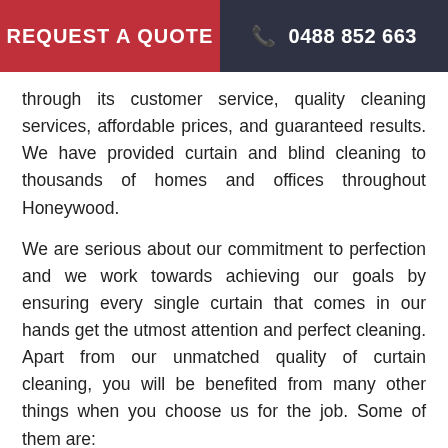REQUEST A QUOTE   0488 852 663
through its customer service, quality cleaning services, affordable prices, and guaranteed results. We have provided curtain and blind cleaning to thousands of homes and offices throughout Honeywood.
We are serious about our commitment to perfection and we work towards achieving our goals by ensuring every single curtain that comes in our hands get the utmost attention and perfect cleaning. Apart from our unmatched quality of curtain cleaning, you will be benefited from many other things when you choose us for the job. Some of them are:
Lowest drapery cleaning prices in Honeywood
Absolute customer satisfaction